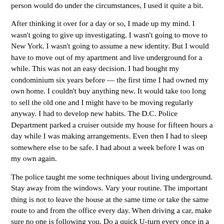person would do under the circumstances, I used it quite a bit.
After thinking it over for a day or so, I made up my mind. I wasn't going to give up investigating. I wasn't going to move to New York. I wasn't going to assume a new identity. But I would have to move out of my apartment and live underground for a while. This was not an easy decision. I had bought my condominium six years before — the first time I had owned my own home. I couldn't buy anything new. It would take too long to sell the old one and I might have to be moving regularly anyway. I had to develop new habits. The D.C. Police Department parked a cruiser outside my house for fifteen hours a day while I was making arrangements. Even then I had to sleep somewhere else to be safe. I had about a week before I was on my own again.
The police taught me some techniques about living underground. Stay away from the windows. Vary your routine. The important thing is not to leave the house at the same time or take the same route to and from the office every day. When driving a car, make sure no one is following you. Do a quick U-turn every once in a while just to make sure. I did that many times.
“Be careful when you jog,” they said. That was a big problem. I love to jog. It’s my only opportunity to get outdoors and get my mind off things for a while. But jogging through Rock Creek Park